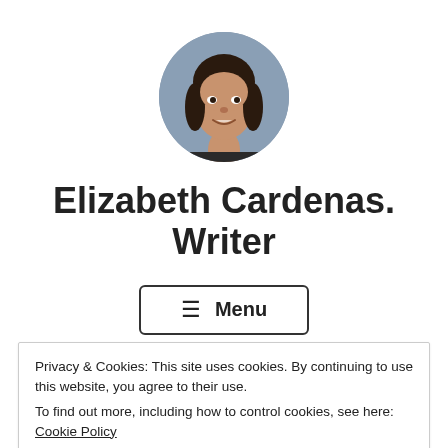[Figure (photo): Circular profile photo of a woman with dark hair, smiling, against a grey background]
Elizabeth Cardenas. Writer
≡ Menu
Privacy & Cookies: This site uses cookies. By continuing to use this website, you agree to their use.
To find out more, including how to control cookies, see here: Cookie Policy
Close and accept